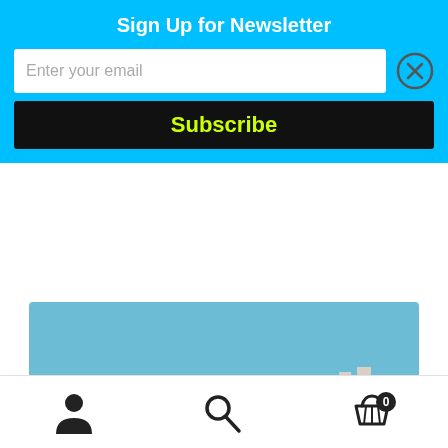Sign Up for Newsletter
Enter your email
Subscribe
[Figure (illustration): Painting of Tigh Breslin, Gola, Donegal, Ireland — white farmhouses with dark roof, ruined stone structures, green field, winding road, blue sky.]
Tigh Breslin, Gola (Donegal, Ireland)
User icon | Search icon | Cart icon with badge 0